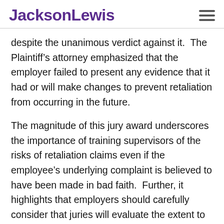JacksonLewis
despite the unanimous verdict against it.  The Plaintiff’s attorney emphasized that the employer failed to present any evidence that it had or will make changes to prevent retaliation from occurring in the future.
The magnitude of this jury award underscores the importance of training supervisors of the risks of retaliation claims even if the employee’s underlying complaint is believed to have been made in bad faith.  Further, it highlights that employers should carefully consider that juries will evaluate the extent to which an employer has presented evidence that its policies and practices have or will prevent unlawful retaliation from occurring.